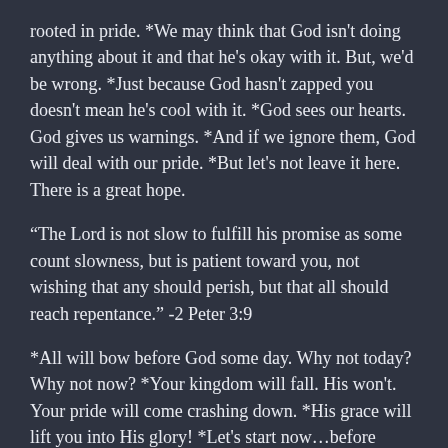rooted in pride. *We may think that God isn't doing anything about it and that he's okay with it. But, we'd be wrong. *Just because God hasn't zapped you doesn't mean he's cool with it. *God sees our hearts. God gives us warnings. *And if we ignore them, God will deal with our pride. *But let's not leave it here. There is a great hope.
“The Lord is not slow to fulfill his promise as some count slowness, but is patient toward you, not wishing that any should perish, but that all should reach repentance.” -2 Peter 3:9
*All will bow before God some day. Why not today? Why not now? *Your kingdom will fall. His won't. Your pride will come crashing down. *His grace will lift you into His glory! *Let's start now…before someone yells “timber”.